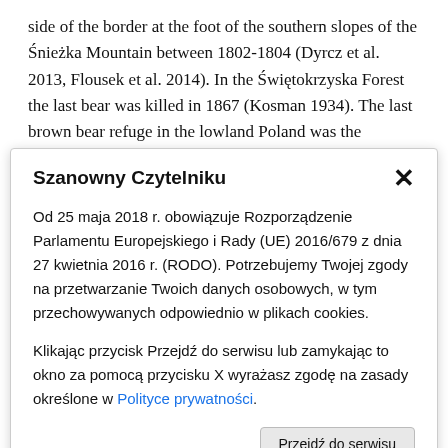side of the border at the foot of the southern slopes of the Śnieżka Mountain between 1802-1804 (Dyrcz et al. 2013, Flousek et al. 2014). In the Świętokrzyska Forest the last bear was killed in 1867 (Kosman 1934). The last brown bear refuge in the lowland Poland was the Białowieża Forest, where the last individual was shot
Szanowny Czytelniku
Od 25 maja 2018 r. obowiązuje Rozporządzenie Parlamentu Europejskiego i Rady (UE) 2016/679 z dnia 27 kwietnia 2016 r. (RODO). Potrzebujemy Twojej zgody na przetwarzanie Twoich danych osobowych, w tym przechowywanych odpowiednio w plikach cookies.
Klikając przycisk Przejdź do serwisu lub zamykając to okno za pomocą przycisku X wyrażasz zgodę na zasady określone w Polityce prywatności.